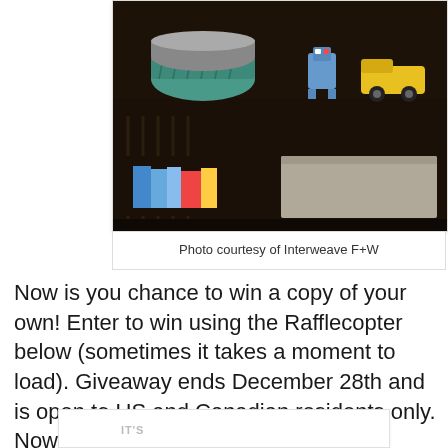[Figure (photo): Photo of a dark wood bookshelf with books and a gray storage box on a lower shelf, and a teal knitted basket and toy robot and toy truck on top. Photo shows a styled children's room furniture piece.]
Photo courtesy of Interweave F+W
Now is you chance to win a copy of your own! Enter to win using the Rafflecopter below (sometimes it takes a moment to load). Giveaway ends December 28th and is open to US and Canadian residents only. Now go, go, go, and enter!!!
[Figure (other): Rafflecopter widget box with 'IT'S' text visible, partially cut off at bottom of page]